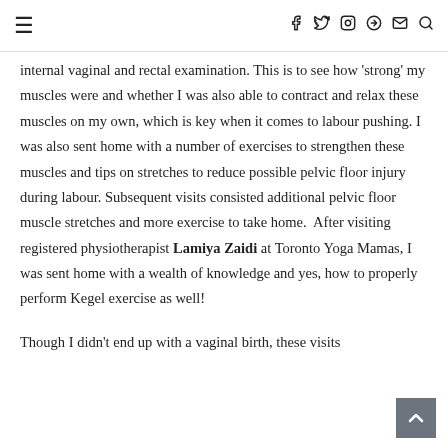≡  f  🐦  ⊙  ⊕  ✉  🔍
internal vaginal and rectal examination. This is to see how 'strong' my muscles were and whether I was also able to contract and relax these muscles on my own, which is key when it comes to labour pushing. I was also sent home with a number of exercises to strengthen these muscles and tips on stretches to reduce possible pelvic floor injury during labour. Subsequent visits consisted additional pelvic floor muscle stretches and more exercise to take home.  After visiting registered physiotherapist Lamiya Zaidi at Toronto Yoga Mamas, I was sent home with a wealth of knowledge and yes, how to properly perform Kegel exercise as well!
Though I didn't end up with a vaginal birth, these visits